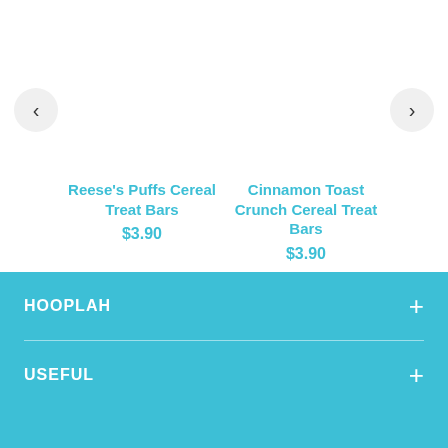[Figure (screenshot): Left navigation arrow button (chevron <) on a light gray circular background]
[Figure (screenshot): Right navigation arrow button (chevron >) on a light gray circular background]
Reese's Puffs Cereal Treat Bars
$3.90
Cinnamon Toast Crunch Cereal Treat Bars
$3.90
HOOPLAH
USEFUL